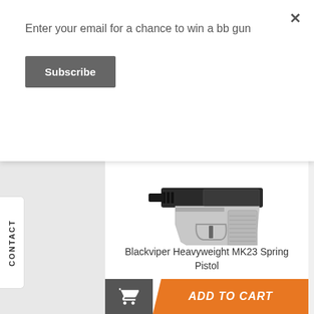Enter your email for a chance to win a bb gun
Subscribe
[Figure (photo): Blackviper Heavyweight MK23 Spring Pistol - a silver/chrome airsoft pistol with black barrel]
Blackviper Heavyweight MK23 Spring Pistol
£30.00 £24.99
★★★★☆ (4 out of 5 stars)
ADD TO CART